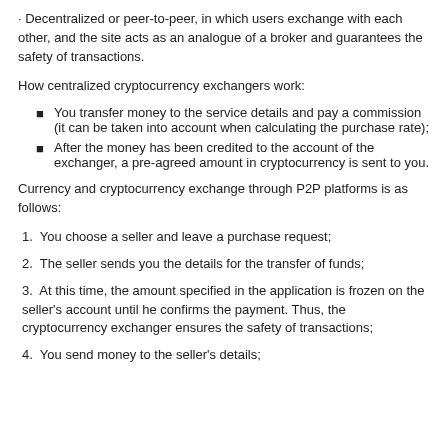· Decentralized or peer-to-peer, in which users exchange with each other, and the site acts as an analogue of a broker and guarantees the safety of transactions.
How centralized cryptocurrency exchangers work:
You transfer money to the service details and pay a commission (it can be taken into account when calculating the purchase rate);
After the money has been credited to the account of the exchanger, a pre-agreed amount in cryptocurrency is sent to you.
Currency and cryptocurrency exchange through P2P platforms is as follows:
1.  You choose a seller and leave a purchase request;
2.  The seller sends you the details for the transfer of funds;
3.  At this time, the amount specified in the application is frozen on the seller's account until he confirms the payment. Thus, the cryptocurrency exchanger ensures the safety of transactions;
4.  You send money to the seller's details;